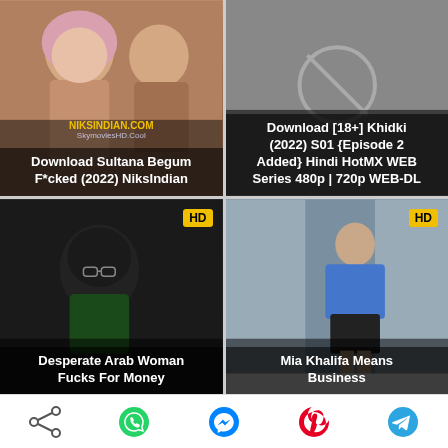[Figure (screenshot): Thumbnail card: Download Sultana Begum F*cked (2022) NiksIndian, with NiksIndian.com and SkymoviesHD.Cool watermarks]
[Figure (screenshot): Thumbnail card: Download [18+] Khidki (2022) S01 {Episode 2 Added} Hindi HotMX WEB Series 480p | 720p WEB-DL]
[Figure (screenshot): Thumbnail card with HD badge: Desperate Arab Woman Fucks For Money]
[Figure (screenshot): Thumbnail card with HD badge: Mia Khalifa Means Business]
[Figure (screenshot): Bottom share bar with share, WhatsApp, Messenger, Pinterest, Telegram icons]